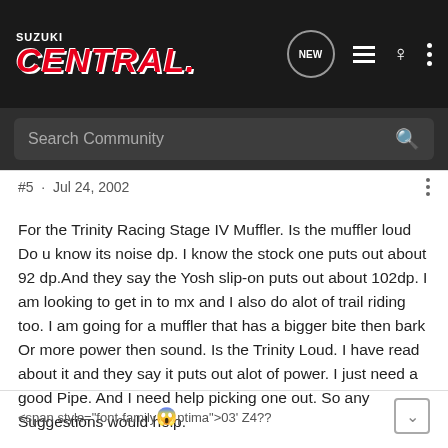Suzuki Central
Search Community
#5 · Jul 24, 2002
For the Trinity Racing Stage IV Muffler. Is the muffler loud Do u know its noise dp. I know the stock one puts out about 92 dp.And they say the Yosh slip-on puts out about 102dp. I am looking to get in to mx and I also do alot of trail riding too. I am going for a muffler that has a bigger bite then bark Or more power then sound. Is the Trinity Loud. I have read about it and they say it puts out alot of power. I just need a good Pipe. And I need help picking one out. So any Suggestions would help.
<span style="font-family😱ptima">03' Z4??